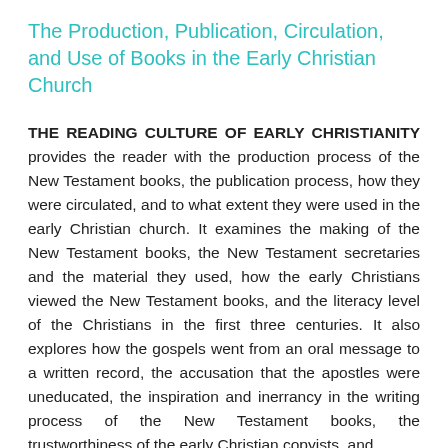The Production, Publication, Circulation, and Use of Books in the Early Christian Church
THE READING CULTURE OF EARLY CHRISTIANITY provides the reader with the production process of the New Testament books, the publication process, how they were circulated, and to what extent they were used in the early Christian church. It examines the making of the New Testament books, the New Testament secretaries and the material they used, how the early Christians viewed the New Testament books, and the literacy level of the Christians in the first three centuries. It also explores how the gospels went from an oral message to a written record, the accusation that the apostles were uneducated, the inspiration and inerrancy in the writing process of the New Testament books, the trustworthiness of the early Christian copyists, and